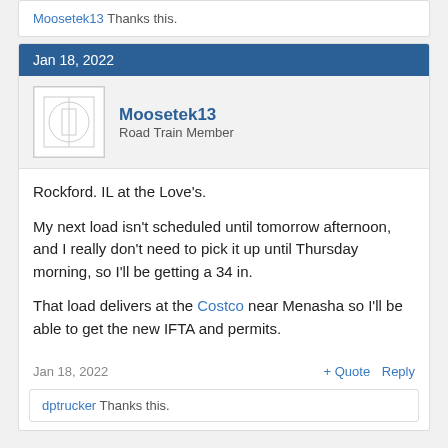Moosetek13 Thanks this.
Jan 18, 2022
Moosetek13
Road Train Member
Rockford. IL at the Love's.

My next load isn't scheduled until tomorrow afternoon, and I really don't need to pick it up until Thursday morning, so I'll be getting a 34 in.

That load delivers at the Costco near Menasha so I'll be able to get the new IFTA and permits.
Jan 18, 2022   + Quote  Reply
dptrucker Thanks this.